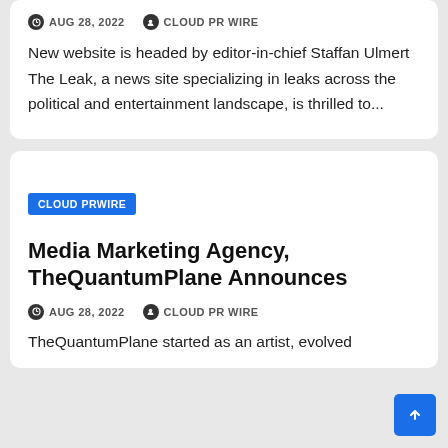AUG 28, 2022   CLOUD PR WIRE
New website is headed by editor-in-chief Staffan Ulmert The Leak, a news site specializing in leaks across the political and entertainment landscape, is thrilled to...
CLOUD PRWIRE
Media Marketing Agency, TheQuantumPlane Announces
AUG 28, 2022   CLOUD PR WIRE
TheQuantumPlane started as an artist, evolved